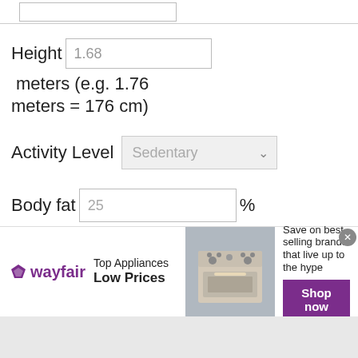Height  1.68  meters (e.g. 1.76 meters = 176 cm)
Activity Level  Sedentary
Body fat  25  %
Net carbs  25  grams
Specify the amount of daily net carbs you'd like to consume. Typically, 20-30 grams is recommended to start
[Figure (screenshot): Wayfair advertisement banner: Top Appliances Low Prices, image of a stove/range, Save on best selling brands that live up to the hype, Shop now button]